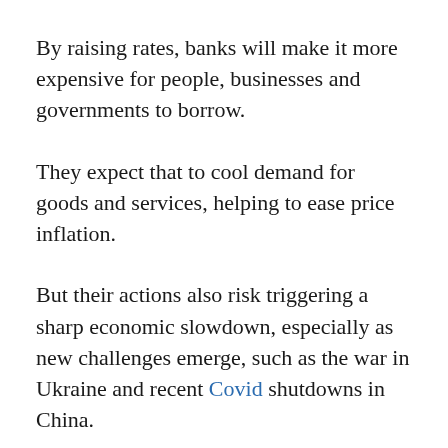By raising rates, banks will make it more expensive for people, businesses and governments to borrow.
They expect that to cool demand for goods and services, helping to ease price inflation.
But their actions also risk triggering a sharp economic slowdown, especially as new challenges emerge, such as the war in Ukraine and recent Covid shutdowns in China.
“It’s a narrow path they have to walk,” said economist Donald Kohn, who previously served on the Fed’s rate-setting committee. “It’s going